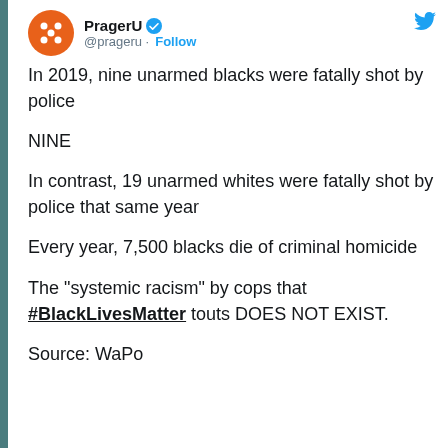[Figure (screenshot): Twitter/X profile header for PragerU (@prageru) with orange avatar showing white dot pattern, verified checkmark badge, and Follow button. Twitter bird icon top right.]
In 2019, nine unarmed blacks were fatally shot by police

NINE

In contrast, 19 unarmed whites were fatally shot by police that same year

Every year, 7,500 blacks die of criminal homicide

The "systemic racism" by cops that #BlackLivesMatter touts DOES NOT EXIST.

Source: WaPo